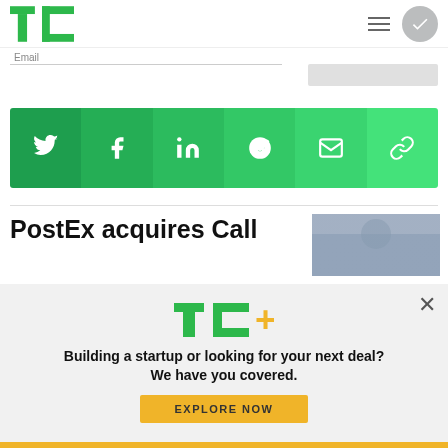TechCrunch header with logo, hamburger menu, and avatar
Email
[Figure (infographic): Social share bar with Twitter, Facebook, LinkedIn, Reddit, Email, and Link icons on green gradient background]
PostEx acquires Call
[Figure (photo): Blurry outdoor/road photo thumbnail]
[Figure (infographic): TechCrunch+ modal overlay with TC+ logo, promotional text, and EXPLORE NOW button]
Building a startup or looking for your next deal? We have you covered.
EXPLORE NOW